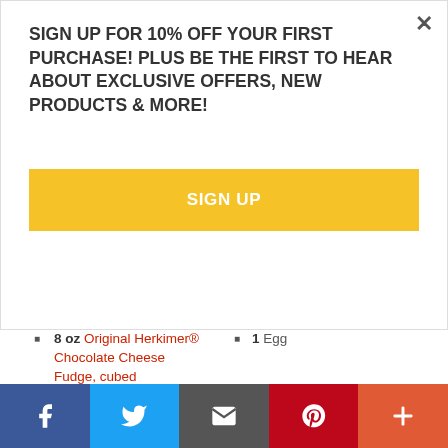SIGN UP FOR 10% OFF YOUR FIRST PURCHASE! PLUS BE THE FIRST TO HEAR ABOUT EXCLUSIVE OFFERS, NEW PRODUCTS & MORE!
SIGN UP
Ingredients:
8 oz Original Herkimer® Chocolate Cheese Fudge, cubed
1 Egg
1/2 cup Butter, softened
1/2 Tsp. Vanilla extract
1/2 cup Creamy peanut
1 1/4 cup All